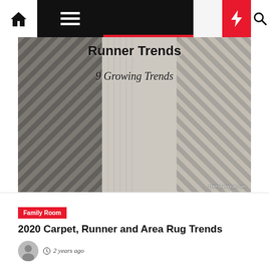Navigation bar with home, menu, moon, bolt, and search icons
[Figure (photo): Hero image showing carpet runner stairs with text overlay 'Runner Trends' and '9 Growing Trends', watermark TheFlooringGirl.com]
Family Room
2020 Carpet, Runner and Area Rug Trends
2 years ago
[Figure (photo): Partial view of a second article image at bottom of page, showing interior decor]